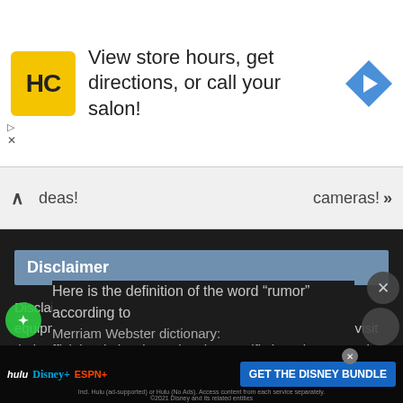[Figure (screenshot): Advertisement banner: HC logo (yellow square with HC text), headline 'View store hours, get directions, or call your salon!', blue diamond navigation arrow icon on right. Small play and close icons at bottom-left of ad.]
deas!    cameras! »
Disclaimer
Disclaimer: 43Rumors has no affiliation with any of the equipment manufacturers mentioned on this site. Please visit their official websites by typing the specific brand name and adding .com after it in your browser. All trademarks and brands belong to their respective owners.
Here is the definition of the word “rumor” according to Merriam Webster dictionary:
[Figure (screenshot): Bottom advertisement banner for Disney Bundle featuring Hulu, Disney+, ESPN+ logos, 'GET THE DISNEY BUNDLE' button, fine print about subscription terms. Close button (X) visible. Green circular icon on left.]